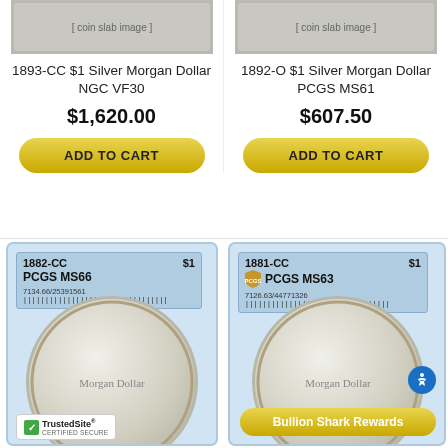[Figure (photo): Top portion of graded coin slab for 1893-CC Silver Morgan Dollar NGC VF30]
1893-CC $1 Silver Morgan Dollar NGC VF30
$1,620.00
ADD TO CART
[Figure (photo): Top portion of graded coin slab for 1892-O Silver Morgan Dollar PCGS MS61]
1892-O $1 Silver Morgan Dollar PCGS MS61
$607.50
ADD TO CART
[Figure (photo): Graded coin slab photo: 1882-CC $1 PCGS MS66, serial 7134.66/25391561, showing Morgan dollar obverse]
[Figure (photo): Graded coin slab photo: 1881-CC $1 PCGS MS63, serial 7126.63/44771326, showing Morgan dollar obverse. Bottom overlays: TrustedSite certified secure badge and Bullion Shark Rewards button]